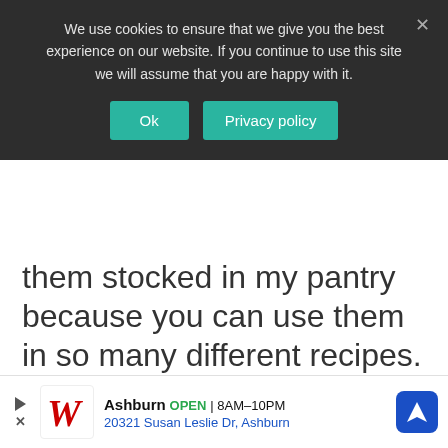them stocked in my pantry because you can use them in so many different recipes.
REPLY
Laura MyNewestAddiction
October 29, 2014 at 12:04 am
thi
[Figure (screenshot): Cookie consent banner overlay with dark background, text 'We use cookies to ensure that we give you the best experience on our website. If you continue to use this site we will assume that you are happy with it.' with Ok and Privacy policy buttons, and X close button]
[Figure (screenshot): Walgreens advertisement banner at bottom: Ashburn OPEN 8AM-10PM, 20321 Susan Leslie Dr, Ashburn, with Walgreens W logo and blue navigation icon]